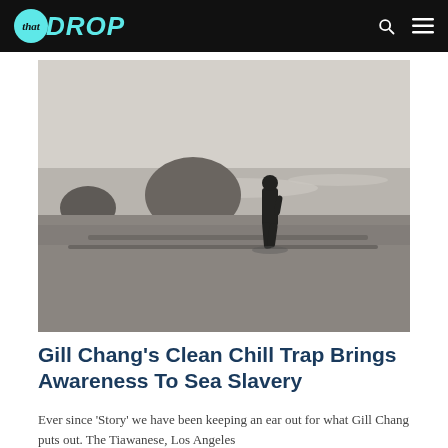that DROP
[Figure (photo): Black and white photo of a person standing on a rocky beach shoreline with large boulders in the background and ocean waves, viewed from behind.]
Gill Chang's Clean Chill Trap Brings Awareness To Sea Slavery
Ever since 'Story' we have been keeping an ear out for what Gill Chang puts out. The Tiawanese, Los Angeles